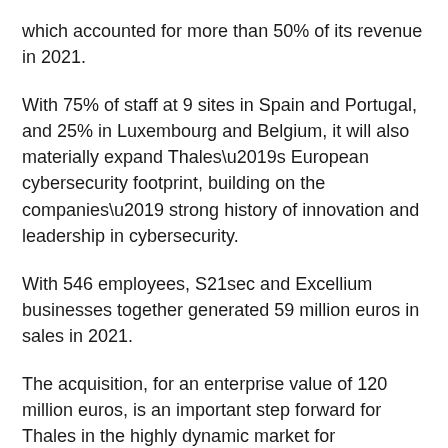which accounted for more than 50% of its revenue in 2021.
With 75% of staff at 9 sites in Spain and Portugal, and 25% in Luxembourg and Belgium, it will also materially expand Thales’s European cybersecurity footprint, building on the companies’ strong history of innovation and leadership in cybersecurity.
With 546 employees, S21sec and Excellium businesses together generated 59 million euros in sales in 2021.
The acquisition, for an enterprise value of 120 million euros, is an important step forward for Thales in the highly dynamic market for cybersecurity consulting and managed services, which anticipates significant growth between 2020 and 2025.